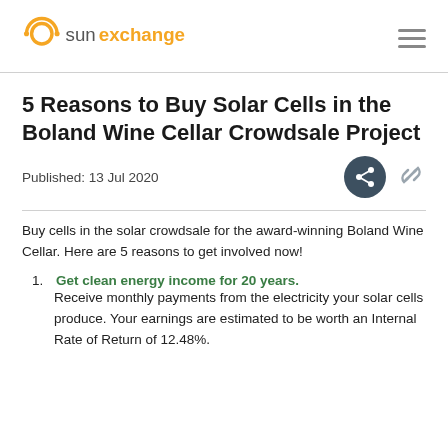sunexchange
5 Reasons to Buy Solar Cells in the Boland Wine Cellar Crowdsale Project
Published: 13 Jul 2020
Buy cells in the solar crowdsale for the award-winning Boland Wine Cellar. Here are 5 reasons to get involved now!
1. Get clean energy income for 20 years. Receive monthly payments from the electricity your solar cells produce. Your earnings are estimated to be worth an Internal Rate of Return of 12.48%.